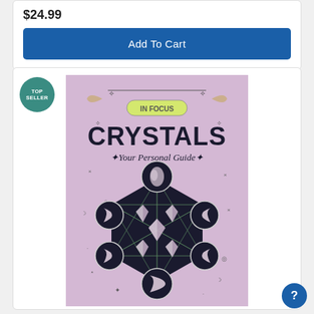$24.99
Add To Cart
[Figure (photo): Book cover for 'In Focus Crystals: Your Personal Guide' — a purple/lavender background with the title CRYSTALS in large bold black letters, subtitle 'Your Personal Guide', and a geometric mystical diagram featuring moon phase circles with crystal illustrations arranged in a hexagonal pattern. Decorative stars and celestial motifs surround the design.]
TOP SELLER